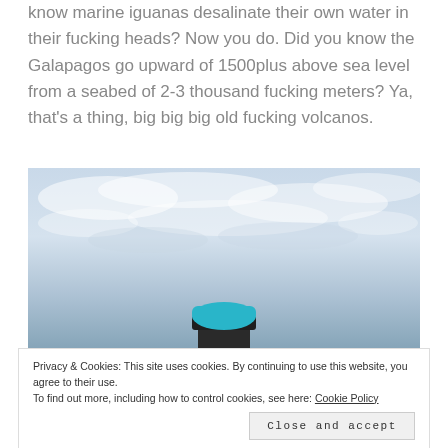know marine iguanas desalinate their own water in their fucking heads? Now you do. Did you know the Galapagos go upward of 1500plus above sea level from a seabed of 2-3 thousand fucking meters? Ya, that's a thing, big big big old fucking volcanos.
[Figure (photo): Outdoor photo showing a cloudy sky with a person wearing a cyan/blue bucket hat and dark hat brim, partially visible from below, standing outdoors.]
Privacy & Cookies: This site uses cookies. By continuing to use this website, you agree to their use. To find out more, including how to control cookies, see here: Cookie Policy
Close and accept